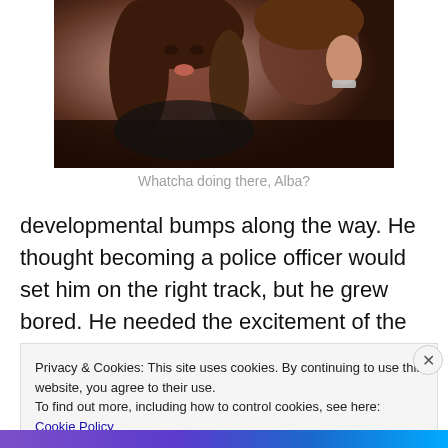[Figure (photo): Two women close together, one with wavy brown hair making an expression, the other with hand raised near face wearing a watch/bracelet, warm toned photo]
Whatcha doing there, Alba?
developmental bumps along the way. He thought becoming a police officer would set him on the right track, but he grew bored. He needed the excitement of the
Privacy & Cookies: This site uses cookies. By continuing to use this website, you agree to their use.
To find out more, including how to control cookies, see here: Cookie Policy
Close and accept